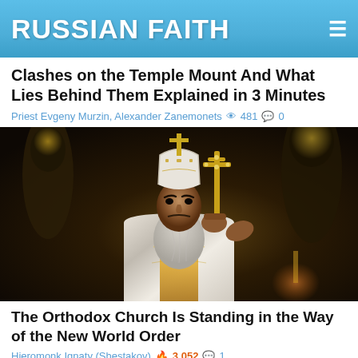RUSSIAN FAITH
Clashes on the Temple Mount And What Lies Behind Them Explained in 3 Minutes
Priest Evgeny Murzin, Alexander Zanemonets 👁 481 💬 0
[Figure (photo): Orthodox bishop in white and gold vestments holding a gold cross, with dark mural/icon background in a church setting]
The Orthodox Church Is Standing in the Way of the New World Order
Hieromonk Ignaty (Shestakov) 🔥 3,052 💬 1